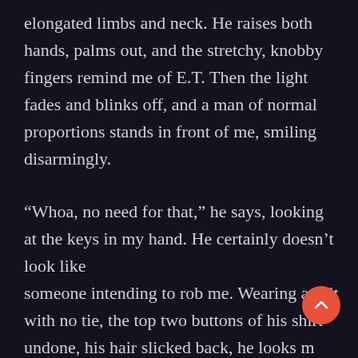elongated limbs and neck. He raises both hands, palms out, and the stretchy, knobby fingers remind me of E.T. Then the light fades and blinks off, and a man of normal proportions stands in front of me, smiling disarmingly.
“Whoa, no need for that,” he says, looking at the keys in my hand. He certainly doesn’t look like someone intending to rob me. Wearing a suit with no tie, the top two buttons of his shirt undone, his hair slicked back, he looks m like a manager, I assume for the band Celso